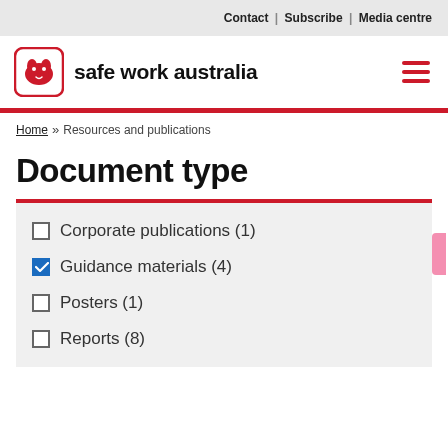Contact | Subscribe | Media centre
[Figure (logo): Safe Work Australia logo with wombat icon and bold text 'safe work australia']
Home » Resources and publications
Document type
Corporate publications (1)
Guidance materials (4)
Posters (1)
Reports (8)